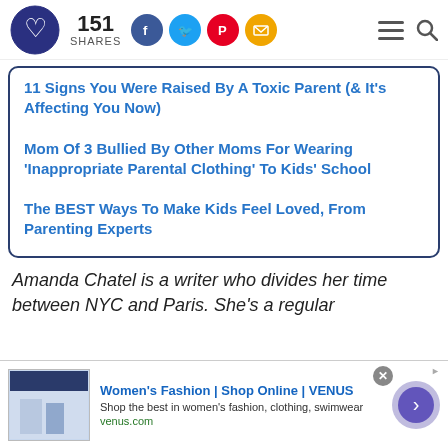151 SHARES
11 Signs You Were Raised By A Toxic Parent (& It's Affecting You Now)
Mom Of 3 Bullied By Other Moms For Wearing 'Inappropriate Parental Clothing' To Kids' School
The BEST Ways To Make Kids Feel Loved, From Parenting Experts
Amanda Chatel is a writer who divides her time between NYC and Paris. She's a regular
[Figure (infographic): Advertisement: Women's Fashion | Shop Online | VENUS - Shop the best in women's fashion, clothing, swimwear. venus.com]